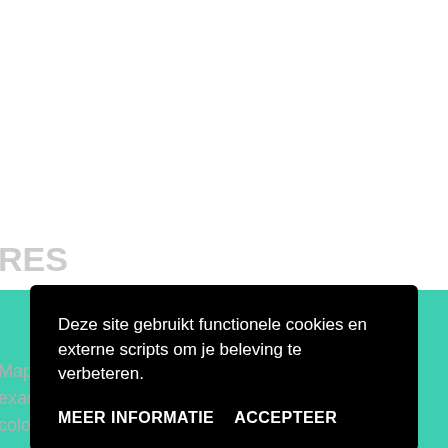RES
Maps, and more
exactly where you
colors you wish.
[Figure (screenshot): Cookie consent banner overlay on a teal/green webpage background. The banner is a black rounded rectangle containing Dutch text and two buttons.]
Deze site gebruikt functionele cookies en externe scripts om je beleving te verbeteren.
MEER INFORMATIE
ACCEPTEER